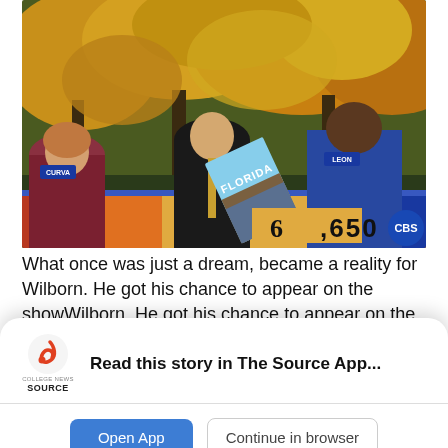[Figure (photo): TV game show screenshot showing three people — a woman in burgundy on the left, a man in a dark suit in the center holding a Florida travel brochure, and a man in a blue shirt with name tag 'LEON' on the right. Autumn yellow trees in the background. Score display shows '650'. CBS logo visible. Counter desk with colored panels at bottom.]
What once was just a dream, became a reality for Wilborn. He got his chance to appear on the show
Read this story in The Source App...
Open App
Continue in browser